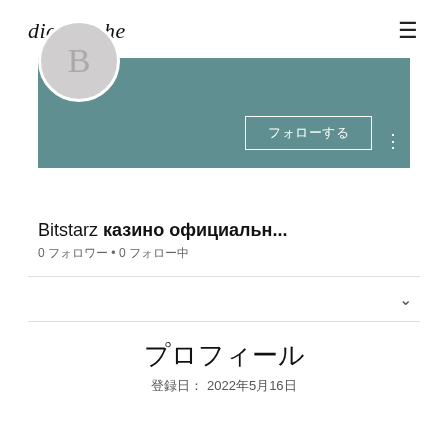die Tasche
[Figure (screenshot): Social media profile page screenshot showing a teal/slate colored banner header with a follow button labeled フォローする, a circular avatar with letter B, profile name 'Bitstarz казино официальн...', follower stats '0 フォロワー • 0 フォロー中', a collapsed section with chevron, and profile section showing registration date 2022年5月16日]
Bitstarz казино официальн...
0 フォロワー • 0 フォロー中
プロフィール
登録日： 2022年5月16日